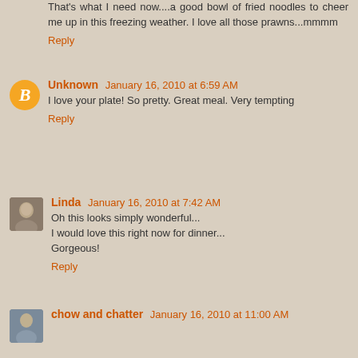That's what I need now....a good bowl of fried noodles to cheer me up in this freezing weather. I love all those prawns...mmmm
Reply
Unknown January 16, 2010 at 6:59 AM
I love your plate! So pretty. Great meal. Very tempting
Reply
Linda January 16, 2010 at 7:42 AM
Oh this looks simply wonderful...
I would love this right now for dinner...
Gorgeous!
Reply
chow and chatter January 16, 2010 at 11:00 AM